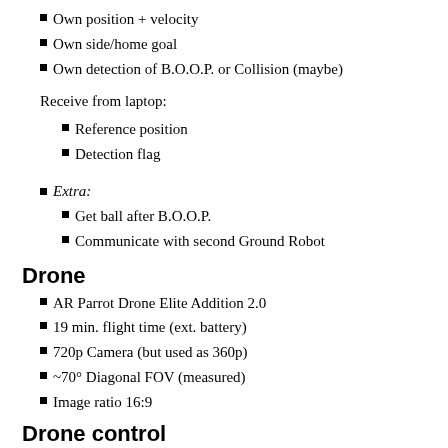Own position + velocity
Own side/home goal
Own detection of B.O.O.P. or Collision (maybe)
Receive from laptop:
Reference position
Detection flag
Extra:
Get ball after B.O.O.P.
Communicate with second Ground Robot
Drone
AR Parrot Drone Elite Addition 2.0
19 min. flight time (ext. battery)
720p Camera (but used as 360p)
~70° Diagonal FOV (measured)
Image ratio 16:9
Drone control